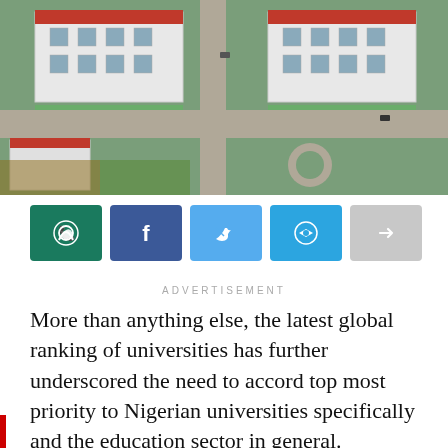[Figure (photo): Aerial view of a university campus with white buildings with red roofs, green lawns, and paved roads]
[Figure (infographic): Social sharing buttons bar: WhatsApp (dark green), Facebook (dark blue), Twitter (light blue), Telegram (cyan-blue), Share (grey)]
ADVERTISEMENT
More than anything else, the latest global ranking of universities has further underscored the need to accord top most priority to Nigerian universities specifically and the education sector in general. According to the Times Higher Education Impact Rankings, the best university in Nigeria, Afe Babalola